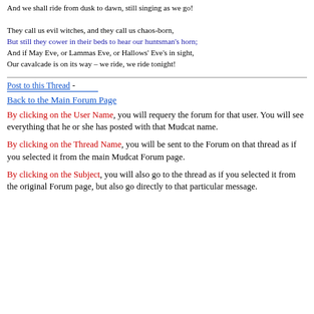And we shall ride from dusk to dawn, still singing as we go!

They call us evil witches, and they call us chaos-born,
But still they cower in their beds to hear our huntsman's horn;
And if May Eve, or Lammas Eve, or Hallows' Eve's in sight,
Our cavalcade is on its way – we ride, we ride tonight!
Post to this Thread -
Back to the Main Forum Page
By clicking on the User Name, you will requery the forum for that user. You will see everything that he or she has posted with that Mudcat name.
By clicking on the Thread Name, you will be sent to the Forum on that thread as if you selected it from the main Mudcat Forum page.
By clicking on the Subject, you will also go to the thread as if you selected it from the original Forum page, but also go directly to that particular message.